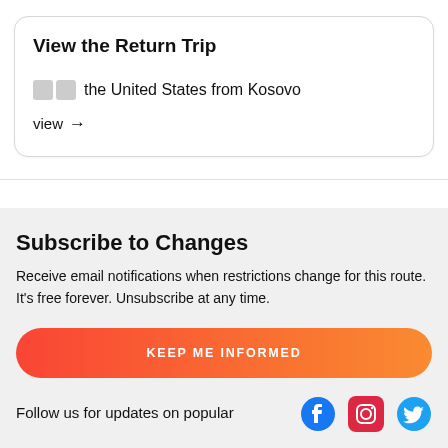View the Return Trip
🇺🇸 the United States from Kosovo
view →
Subscribe to Changes
Receive email notifications when restrictions change for this route. It's free forever. Unsubscribe at any time.
KEEP ME INFORMED
Follow us for updates on popular